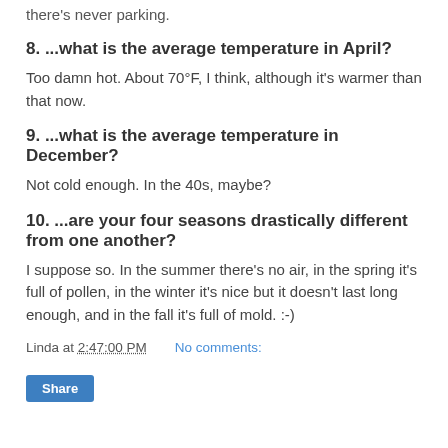there's never parking.
8. ...what is the average temperature in April?
Too damn hot. About 70°F, I think, although it's warmer than that now.
9. ...what is the average temperature in December?
Not cold enough. In the 40s, maybe?
10. ...are your four seasons drastically different from one another?
I suppose so. In the summer there's no air, in the spring it's full of pollen, in the winter it's nice but it doesn't last long enough, and in the fall it's full of mold. :-)
Linda at 2:47:00 PM    No comments:
Share